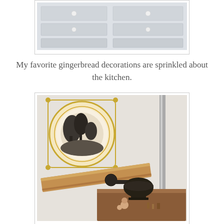[Figure (photo): Top portion of a white painted dresser/chest of drawers with white knobs, drawers visible, light gray-blue color scheme]
My favorite gingerbread decorations are sprinkled about the kitchen.
[Figure (photo): Kitchen vignette showing a decorative plate with gold rim and black landscape scene hanging on a white wall, with a vintage coffee grinder and wooden cutting board on a wooden table below, and a vertical metal rod/pole visible on the right]